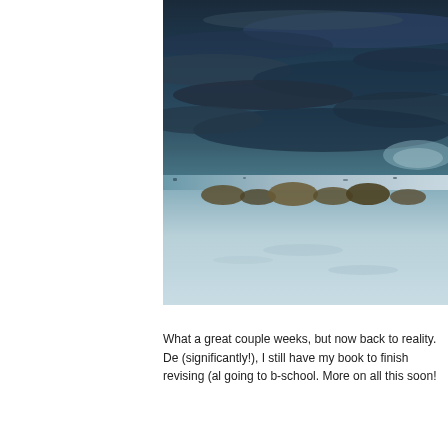[Figure (photo): A snowy, flat landscape under a dramatic dark blue-grey cloudy sky at dusk or dawn. Some sparse dry grassy shrubs are visible along the horizon line, partially covered in snow. The ground is covered in white snow with subtle tracks or shadows visible.]
What a great couple weeks, but now back to reality. De (significantly!), I still have my book to finish revising (al going to b-school. More on all this soon!